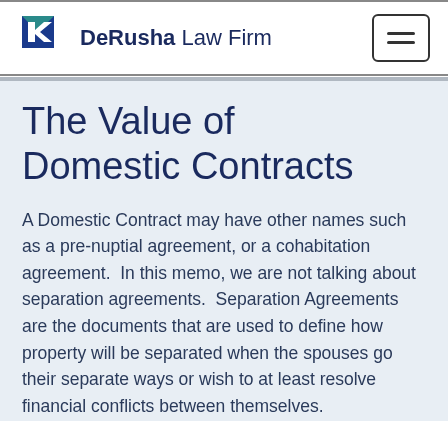DeRusha Law Firm
The Value of Domestic Contracts
A Domestic Contract may have other names such as a pre-nuptial agreement, or a cohabitation agreement.  In this memo, we are not talking about separation agreements.  Separation Agreements are the documents that are used to define how property will be separated when the spouses go their separate ways or wish to at least resolve financial conflicts between themselves.